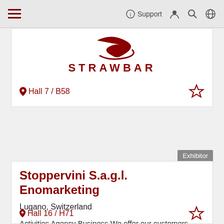Navigation bar with hamburger menu, Support link, user icon, search icon, globe icon
[Figure (logo): Strawbar logo: red curved swish/swoosh mark above the text STRAWBAR in red capital letters]
Hall 7 / B58
Exhibitor
Stoppervini S.a.g.l. Enomarketing
Lugano, Switzerland
Activities Agency Business We offer our customers services in the field of consulting and mediation, which are aimed at direct cooperation between the wineries we serve and the distributor. Our
Hall 16 / H71